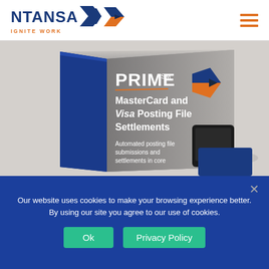[Figure (logo): NTANSA IGNITE WORK logo with blue text and orange arrow icon]
[Figure (photo): Product box for PRIME SM MasterCard and Visa Posting File Settlements - shows a 3D product box with blue spine and gray front panel. Text reads: PRIME SM, MasterCard and Visa Posting File Settlements, Automated posting file submissions and settlements in core]
Our website uses cookies to make your browsing experience better. By using our site you agree to our use of cookies.
Ok
Privacy Policy